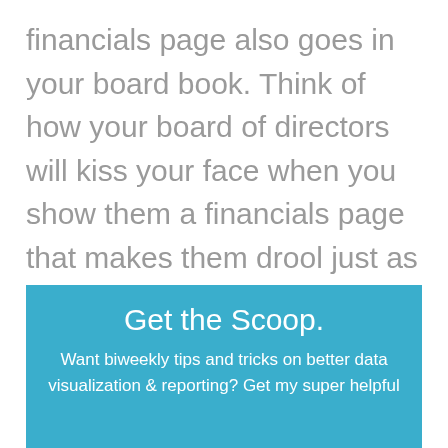financials page also goes in your board book. Think of how your board of directors will kiss your face when you show them a financials page that makes them drool just as much as the glossy photo case study pages. The nicest stud on the beach.
Get the Scoop.
Want biweekly tips and tricks on better data visualization & reporting? Get my super helpful